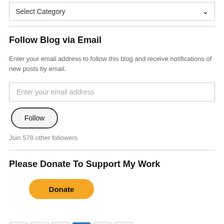Select Category
Follow Blog via Email
Enter your email address to follow this blog and receive notifications of new posts by email.
Enter your email address
Follow
Join 578 other followers
Please Donate To Support My Work
[Figure (other): PayPal Donate button with credit card icons (Visa, Mastercard, Maestro, American Express, Discover, UnionPay)]